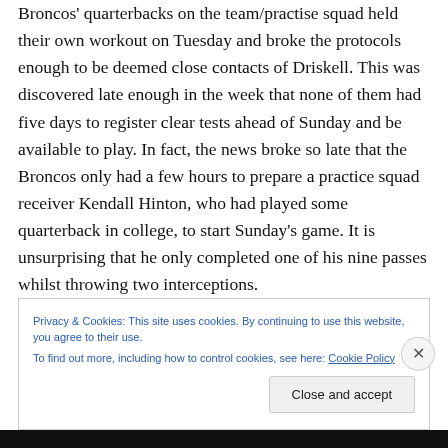Broncos' quarterbacks on the team/practise squad held their own workout on Tuesday and broke the protocols enough to be deemed close contacts of Driskell. This was discovered late enough in the week that none of them had five days to register clear tests ahead of Sunday and be available to play. In fact, the news broke so late that the Broncos only had a few hours to prepare a practice squad receiver Kendall Hinton, who had played some quarterback in college, to start Sunday's game. It is unsurprising that he only completed one of his nine passes whilst throwing two interceptions.
Privacy & Cookies: This site uses cookies. By continuing to use this website, you agree to their use.
To find out more, including how to control cookies, see here: Cookie Policy
Close and accept